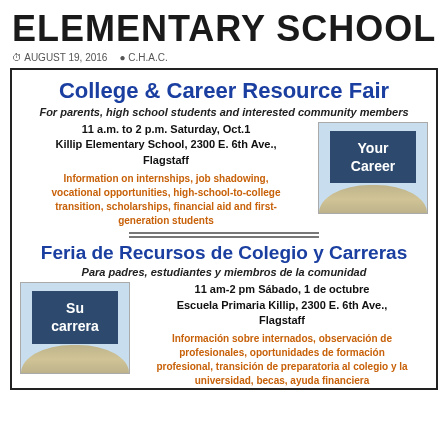ELEMENTARY SCHOOL
AUGUST 19, 2016  C.H.A.C.
College & Career Resource Fair
For parents, high school students and interested community members
11 a.m. to 2 p.m. Saturday, Oct.1
Killip Elementary School, 2300 E. 6th Ave., Flagstaff
[Figure (photo): Photo of a dark blue sign reading 'Your Career' with small decorative figures below]
Information on internships, job shadowing, vocational opportunities, high-school-to-college transition, scholarships, financial aid and first-generation students
Feria de Recursos de Colegio y Carreras
Para padres, estudiantes y miembros de la comunidad
[Figure (photo): Photo of a dark blue sign reading 'Su carrera' with small decorative figures below]
11 am-2 pm Sábado, 1 de octubre
Escuela Primaria Killip, 2300 E. 6th Ave., Flagstaff
Información sobre internados, observación de profesionales, oportunidades de formación profesional, transición de preparatoria al colegio y la universidad, becas, ayuda financiera